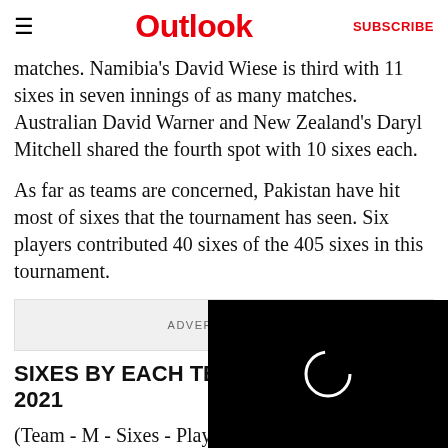≡  Outlook  SUBSCRIBE
matches. Namibia's David Wiese is third with 11 sixes in seven innings of as many matches. Australian David Warner and New Zealand's Daryl Mitchell shared the fourth spot with 10 sixes each.

As far as teams are concerned, Pakistan have hit most of sixes that the tournament has seen. Six players contributed 40 sixes of the 405 sixes in this tournament.
ADVERTISEMENT
[Figure (other): Black video overlay panel with a circular loading/play indicator]
SIXES BY EACH TEAM IN ICC T20 WORLD CUP 2021
(Team - M - Sixes - Players